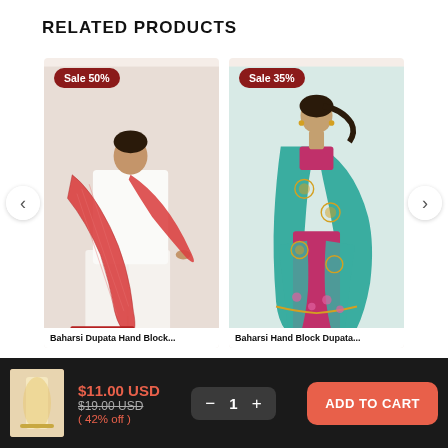RELATED PRODUCTS
[Figure (photo): Woman in white salwar kameez holding a red Banarasi dupatta, with a 'Sale 50%' badge]
[Figure (photo): Woman in teal and pink embroidered saree, with a 'Sale 35%' badge]
[Figure (photo): Small thumbnail of a cream/peach dupatta product]
$11.00 USD
$19.00 USD
( 42% off )
1
ADD TO CART